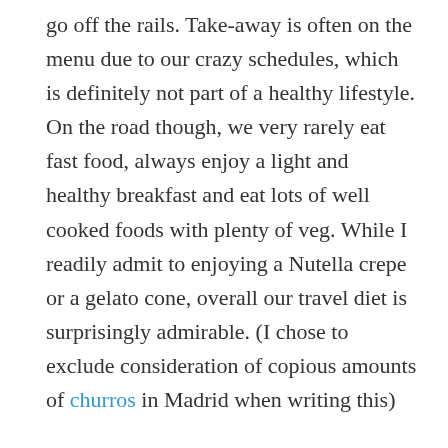go off the rails. Take-away is often on the menu due to our crazy schedules, which is definitely not part of a healthy lifestyle. On the road though, we very rarely eat fast food, always enjoy a light and healthy breakfast and eat lots of well cooked foods with plenty of veg. While I readily admit to enjoying a Nutella crepe or a gelato cone, overall our travel diet is surprisingly admirable. (I chose to exclude consideration of copious amounts of churros in Madrid when writing this)